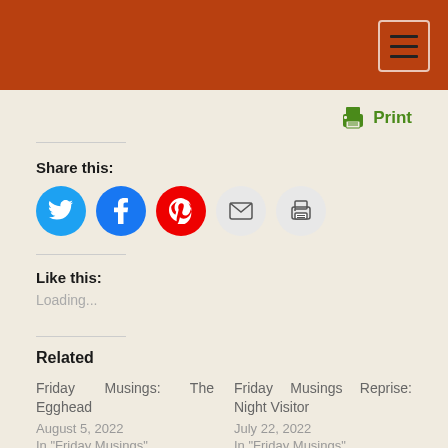Header bar with menu button
[Figure (illustration): Green printer icon next to Print text link]
Share this:
[Figure (infographic): Social sharing icons: Twitter (blue bird), Facebook (blue f), Pinterest (red P), Email (envelope), Print (printer) — all circular buttons]
Like this:
Loading...
Related
Friday Musings: The Egghead
August 5, 2022
In "Friday Musings"
Friday Musings Reprise: Night Visitor
July 22, 2022
In "Friday Musings"